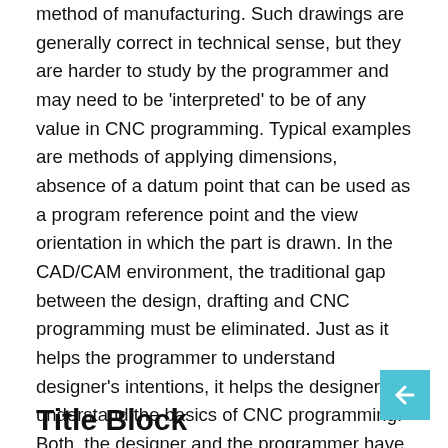method of manufacturing. Such drawings are generally correct in technical sense, but they are harder to study by the programmer and may need to be 'interpreted' to be of any value in CNC programming. Typical examples are methods of applying dimensions, absence of a datum point that can be used as a program reference point and the view orientation in which the part is drawn. In the CAD/CAM environment, the traditional gap between the design, drafting and CNC programming must be eliminated. Just as it helps the programmer to understand designer's intentions, it helps the designer to understand the basics of CNC programming. Both, the designer and the programmer have to understand each other's methods and find common ground that makes the whole process of design and manufacturing coherent and efficient.
Title Block